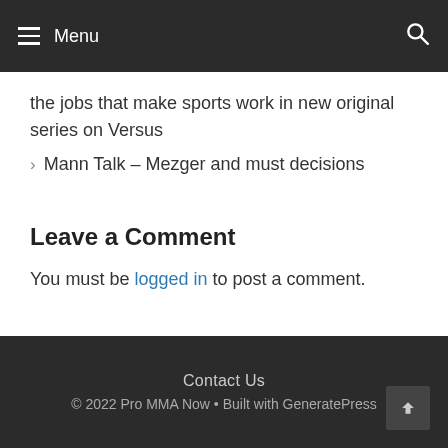Menu
the jobs that make sports work in new original series on Versus
Mann Talk – Mezger and must decisions
Leave a Comment
You must be logged in to post a comment.
Contact Us
© 2022 Pro MMA Now • Built with GeneratePress